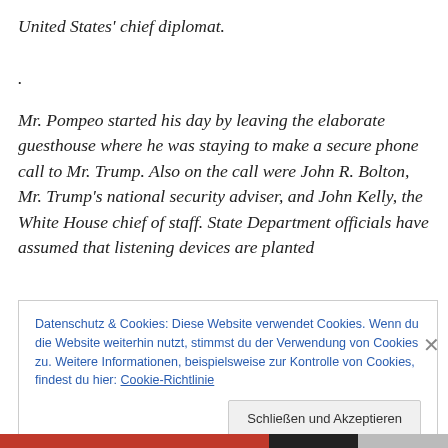United States' chief diplomat.
.
Mr. Pompeo started his day by leaving the elaborate guesthouse where he was staying to make a secure phone call to Mr. Trump. Also on the call were John R. Bolton, Mr. Trump's national security adviser, and John Kelly, the White House chief of staff. State Department officials have assumed that listening devices are planted
Datenschutz & Cookies: Diese Website verwendet Cookies. Wenn du die Website weiterhin nutzt, stimmst du der Verwendung von Cookies zu. Weitere Informationen, beispielsweise zur Kontrolle von Cookies, findest du hier: Cookie-Richtlinie
Schließen und Akzeptieren